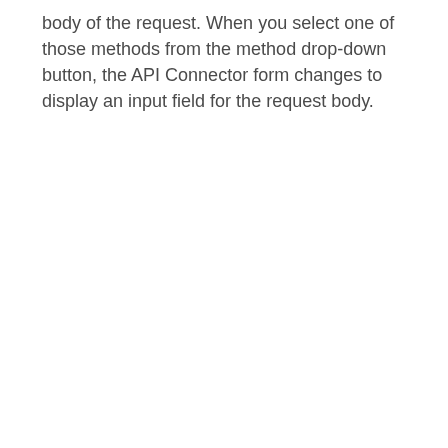body of the request. When you select one of those methods from the method drop-down button, the API Connector form changes to display an input field for the request body.